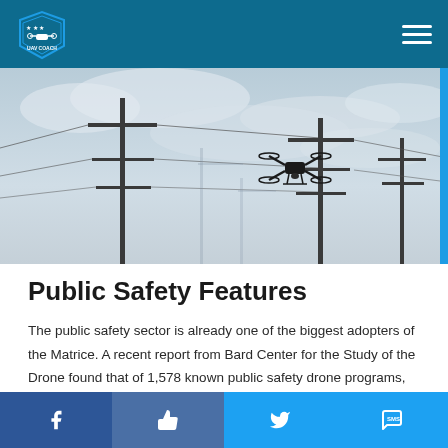UAV Coach navigation header
[Figure (photo): A drone (quadcopter) silhouetted against a cloudy sky, flying near utility poles and power lines]
Public Safety Features
The public safety sector is already one of the biggest adopters of the Matrice. A recent report from Bard Center for the Study of the Drone found that of 1,578 known public safety drone programs, 226 (14%) used a Matrice (the Matrice was 4th on
Social share bar: Facebook, Like, Twitter, SMS